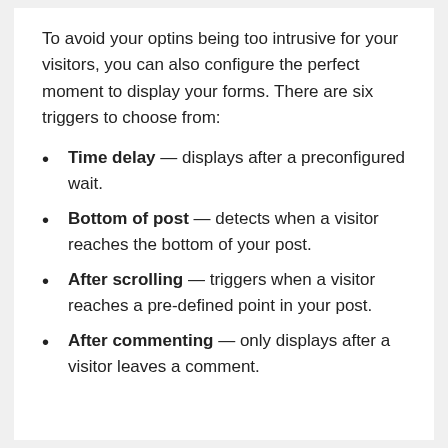To avoid your optins being too intrusive for your visitors, you can also configure the perfect moment to display your forms. There are six triggers to choose from:
Time delay — displays after a preconfigured wait.
Bottom of post — detects when a visitor reaches the bottom of your post.
After scrolling — triggers when a visitor reaches a pre-defined point in your post.
After commenting — only displays after a visitor leaves a comment.